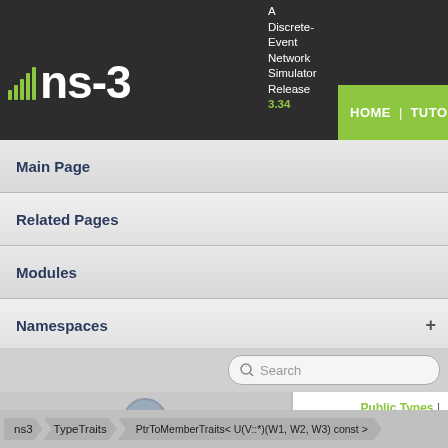[Figure (logo): ns-3 network simulator logo with signal bars and green text, version 3.34]
A Discrete-Event Network Simulator Release 3.34
HOME | TUTORIALS
Main Page
Related Pages
Modules
Namespaces +
Classes +
Files +
Public Types | List of all members
ns3::TypeTraits< T
ns3 > TypeTraits > PtrToMemberTraits< U(V::*)(W1, W2, W3) const >